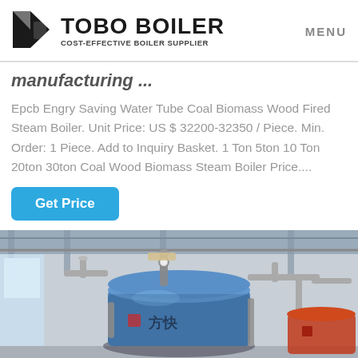TOBO BOILER | COST-EFFECTIVE BOILER SUPPLIER | MENU
manufacturing ...
Epcb Engry Saving Water Tube Coal Biomass Wood Fired Steam Boiler. Unit Price: US $ 32200-32350 / Piece. Min. Order: 1 Piece. Add to Inquiry Basket. 1 Ton 5ton 10 Ton 20ton 30ton Coal Wood Biomass Steam Boiler Price....
Get Price
[Figure (photo): Industrial boiler equipment in a factory/warehouse setting, showing large blue cylindrical boilers with pipes and fittings, Chinese characters visible on boiler.]